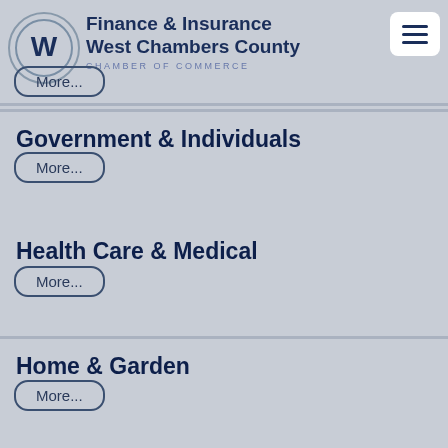Finance & Insurance West Chambers County CHAMBER OF COMMERCE
More...
Government & Individuals
More...
Health Care & Medical
More...
Home & Garden
More...
Industrial Services & Supplies
More...